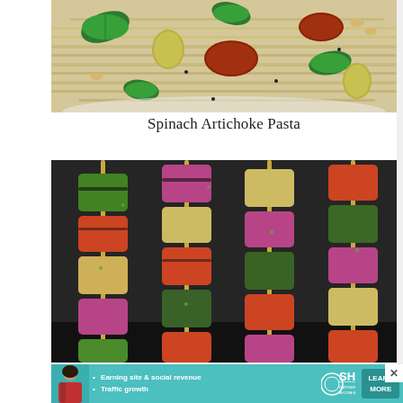[Figure (photo): Close-up photo of spinach artichoke pasta in a white bowl with spinach leaves, sun-dried tomatoes, artichoke hearts, pine nuts, and linguine noodles.]
Spinach Artichoke Pasta
[Figure (photo): Photo of grilled chicken kebabs on skewers with zucchini, red onion, and red bell pepper on a dark baking sheet.]
[Figure (other): Advertisement banner for SHE Partner Network: Earning site & social revenue, Traffic growth. Includes a person photo, SHE logo, and a LEARN MORE button.]